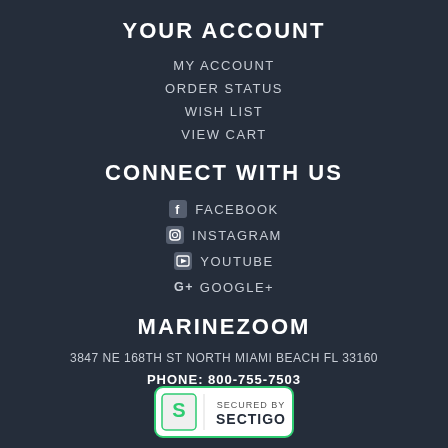YOUR ACCOUNT
MY ACCOUNT
ORDER STATUS
WISH LIST
VIEW CART
CONNECT WITH US
FACEBOOK
INSTAGRAM
YOUTUBE
GOOGLE+
MARINEZOOM
3847 NE 168TH ST NORTH MIAMI BEACH FL 33160
PHONE: 800-755-7503
[Figure (logo): Sectigo SSL secured badge with green border, S logo and text SECURED BY SECTIGO]